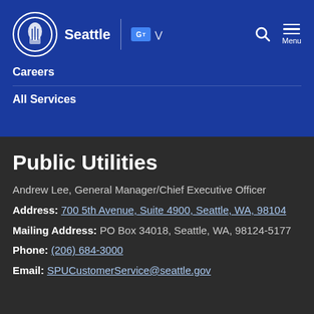Seattle | Translate | Search | Menu
Careers
All Services
Public Utilities
Andrew Lee, General Manager/Chief Executive Officer
Address: 700 5th Avenue, Suite 4900, Seattle, WA, 98104
Mailing Address: PO Box 34018, Seattle, WA, 98124-5177
Phone: (206) 684-3000
Email: SPUCustomerService@seattle.gov